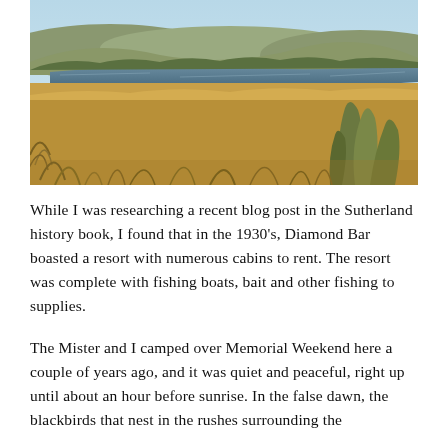[Figure (photo): Landscape photograph showing a wide open dry grassland in the foreground with golden-brown grasses and shrubs, a body of water (lake or reservoir) visible in the middle distance, and rolling hills in the background under a pale blue sky.]
While I was researching a recent blog post in the Sutherland history book, I found that in the 1930's, Diamond Bar boasted a resort with numerous cabins to rent. The resort was complete with fishing boats, bait and other fishing to supplies.
The Mister and I camped over Memorial Weekend here a couple of years ago, and it was quiet and peaceful, right up until about an hour before sunrise. In the false dawn, the blackbirds that nest in the rushes surrounding the